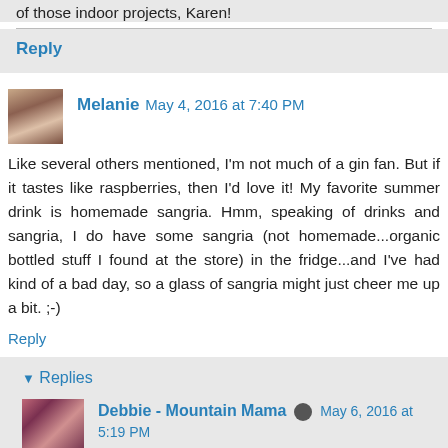of those indoor projects, Karen!
Reply
Melanie  May 4, 2016 at 7:40 PM
Like several others mentioned, I'm not much of a gin fan. But if it tastes like raspberries, then I'd love it! My favorite summer drink is homemade sangria. Hmm, speaking of drinks and sangria, I do have some sangria (not homemade...organic bottled stuff I found at the store) in the fridge...and I've had kind of a bad day, so a glass of sangria might just cheer me up a bit. ;-)
Reply
▾ Replies
Debbie - Mountain Mama  May 6, 2016 at 5:19 PM
It really does, Melanie, it's amazing how the gin